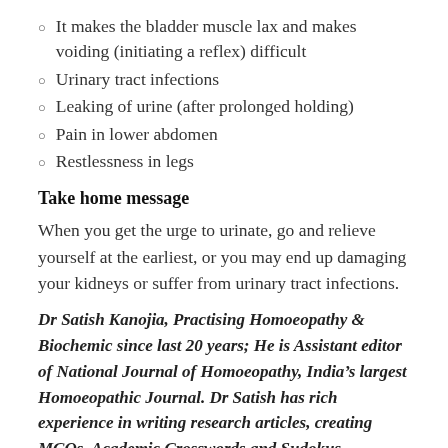It makes the bladder muscle lax and makes voiding (initiating a reflex) difficult
Urinary tract infections
Leaking of urine (after prolonged holding)
Pain in lower abdomen
Restlessness in legs
Take home message
When you get the urge to urinate, go and relieve yourself at the earliest, or you may end up damaging your kidneys or suffer from urinary tract infections.
Dr Satish Kanojia, Practising Homoeopathy & Biochemic since last 20 years; He is Assistant editor of National Journal of Homoeopathy, India’s largest Homoeopathic Journal. Dr Satish has rich experience in writing research articles, creating MCQs, Academic Crosswords and Sudokus
Posted in Wellness